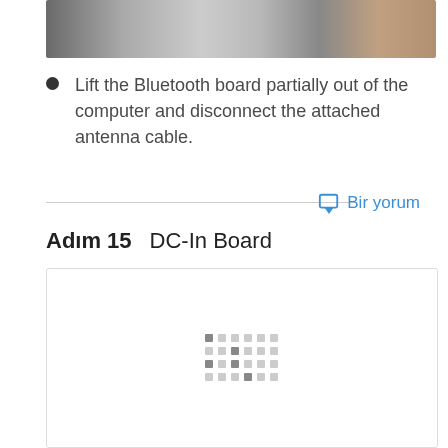[Figure (photo): Partial photo strip showing computer hardware components including a circuit board and a mobile phone keypad being handled]
Lift the Bluetooth board partially out of the computer and disconnect the attached antenna cable.
Bir yorum
Adım 15    DC-In Board
[Figure (photo): Loading image placeholder with dot matrix pattern, representing DC-In Board step image]